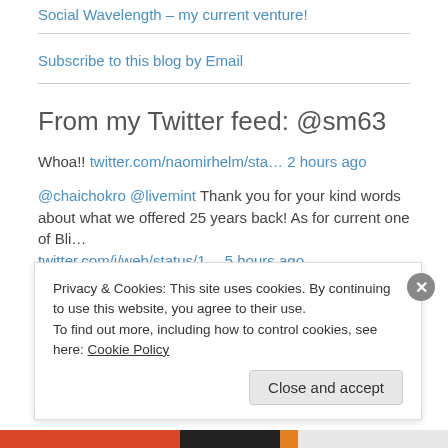Social Wavelength – my current venture!
Subscribe to this blog by Email
From my Twitter feed: @sm63
Whoa!! twitter.com/naomirhelm/sta… 2 hours ago
@chaichokro @livemint Thank you for your kind words about what we offered 25 years back! As for current one of Bli… twitter.com/i/web/status/1… 5 hours ago
Privacy & Cookies: This site uses cookies. By continuing to use this website, you agree to their use. To find out more, including how to control cookies, see here: Cookie Policy